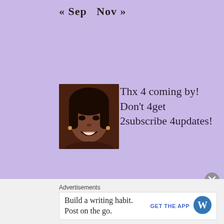« Sep   Nov »
[Figure (photo): Profile photo of a woman smiling, dark hair, dark complexion, small portrait thumbnail]
Thx 4 coming by! Don't 4get 2subscribe 4updates!
Advertisements
Build a writing habit. Post on the go.
GET THE APP
[Figure (logo): WordPress logo - blue circle with white W]